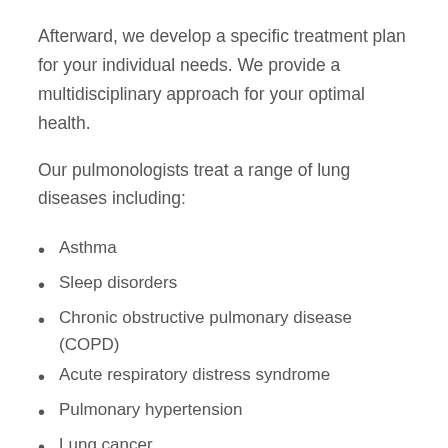Afterward, we develop a specific treatment plan for your individual needs. We provide a multidisciplinary approach for your optimal health.
Our pulmonologists treat a range of lung diseases including:
Asthma
Sleep disorders
Chronic obstructive pulmonary disease (COPD)
Acute respiratory distress syndrome
Pulmonary hypertension
Lung cancer